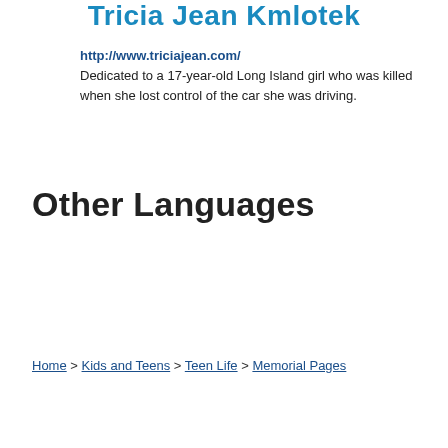Tricia Jean Kmlotek
http://www.triciajean.com/
Dedicated to a 17-year-old Long Island girl who was killed when she lost control of the car she was driving.
Other Languages
Dutch
Home > Kids and Teens > Teen Life > Memorial Pages